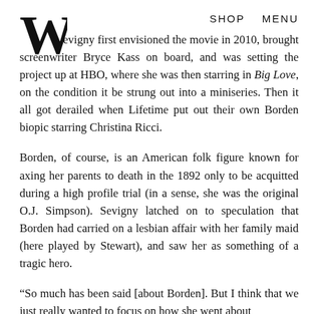SHOP   MENU
Sevigny first envisioned the movie in 2010, brought screenwriter Bryce Kass on board, and was setting the project up at HBO, where she was then starring in Big Love, on the condition it be strung out into a miniseries. Then it all got derailed when Lifetime put out their own Borden biopic starring Christina Ricci.
Borden, of course, is an American folk figure known for axing her parents to death in the 1892 only to be acquitted during a high profile trial (in a sense, she was the original O.J. Simpson). Sevigny latched on to speculation that Borden had carried on a lesbian affair with her family maid (here played by Stewart), and saw her as something of a tragic hero.
“So much has been said [about Borden]. But I think that we just really wanted to focus on how she went about